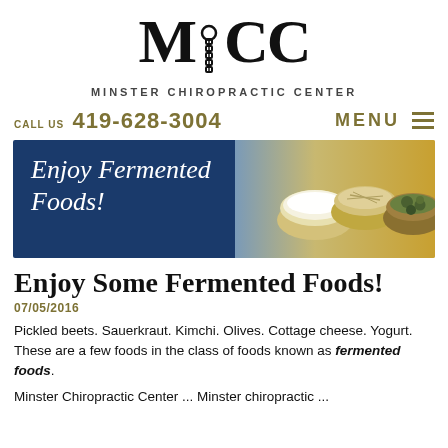[Figure (logo): MCC logo with spine graphic between M and CC, and 'MINSTER CHIROPRACTIC CENTER' text below]
CALL US 419-628-3004   MENU ≡
[Figure (photo): Banner image with dark blue background, text 'Enjoy Fermented Foods!' in white italic, and photo of fermented food bowls on the right]
Enjoy Some Fermented Foods!
07/05/2016
Pickled beets. Sauerkraut. Kimchi. Olives. Cottage cheese. Yogurt. These are a few foods in the class of foods known as fermented foods.
Minster Chiropractic Center ... Minster chiropractic ...